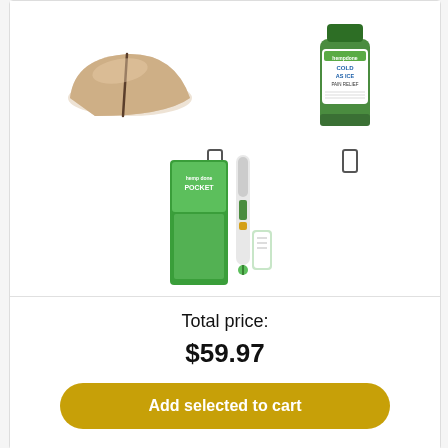[Figure (photo): Product bundle image area showing three items: a beige wedge-shaped support pillow, a green tube of hemp-based cold pain relief cream, and a green pocket therapy/acupressure device with packaging. Two checkbox/rectangle icons appear above the bottom two items.]
Total price:
$59.97
Add selected to cart